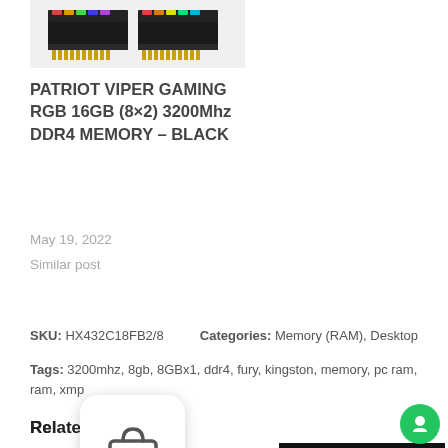[Figure (photo): Patriot Viper Gaming RGB RAM sticks with colorful lighting on dark background]
PATRIOT VIPER GAMING RGB 16GB (8×2) 3200Mhz DDR4 MEMORY – BLACK
May 19, 2022
Similar post
SKU: HX432C18FB2/8    Categories: Memory (RAM), Desktop
Tags: 3200mhz, 8gb, 8GBx1, ddr4, fury, kingston, memory, pc ram, ram, xmp
Related Products
[Figure (photo): Product thumbnail on dark background]
[Figure (photo): Product with Sold out badge, RGB memory sticks]
[Figure (illustration): Shopping bag icon overlay in white rounded card]
[Figure (illustration): Green chat bubble with person icon]